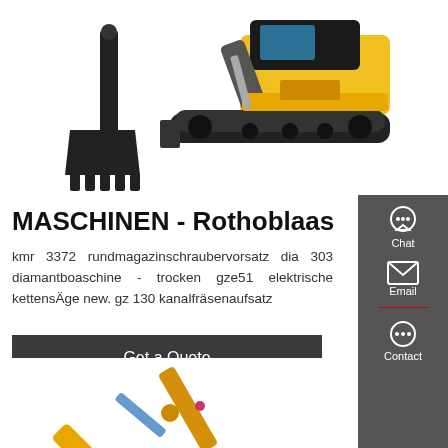[Figure (photo): Yellow mini excavator / compact track excavator with bucket attachment on white background, top portion of machine visible]
MASCHINEN - Rothoblaas
kmr 3372 rundmagazinschraubervorsatz dia 303 diamantboaschine - trocken gze51 elektrische kettensÄge new. gz 130 kanalfräsenaufsatz
Get a Quote
[Figure (photo): Partial view of a yellow construction excavator arm/boom at bottom of page]
Chat
Email
Contact